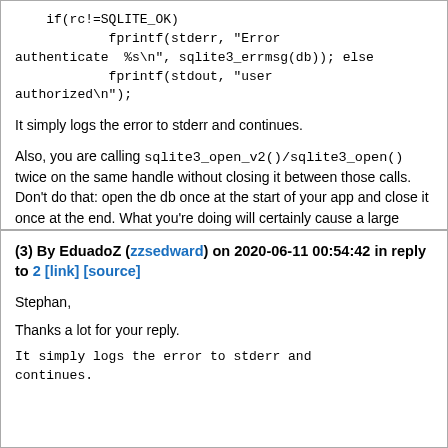if(rc!=SQLITE_OK)
                fprintf(stderr, "Error authenticate  %s\n", sqlite3_errmsg(db)); else
                fprintf(stdout, "user authorized\n");
It simply logs the error to stderr and continues.
Also, you are calling sqlite3_open_v2()/sqlite3_open() twice on the same handle without closing it between those calls. Don't do that: open the db once at the start of your app and close it once at the end. What you're doing will certainly cause a large memory leak.
Reply
(3) By EduadoZ (zzsedward) on 2020-06-11 00:54:42 in reply to 2 [link] [source]
Stephan,
Thanks a lot for your reply.
It simply logs the error to stderr and continues.